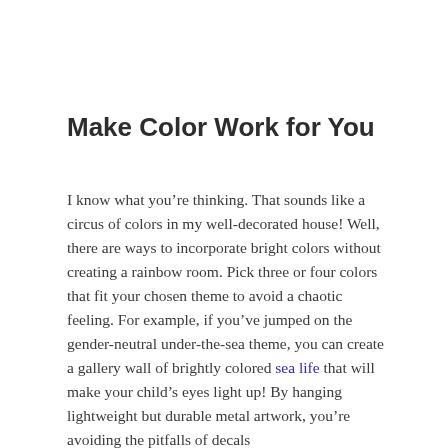Make Color Work for You
I know what you’re thinking. That sounds like a circus of colors in my well-decorated house! Well, there are ways to incorporate bright colors without creating a rainbow room. Pick three or four colors that fit your chosen theme to avoid a chaotic feeling. For example, if you’ve jumped on the gender-neutral under-the-sea theme, you can create a gallery wall of brightly colored sea life that will make your child’s eyes light up! By hanging lightweight but durable metal artwork, you’re avoiding the pitfalls of decals